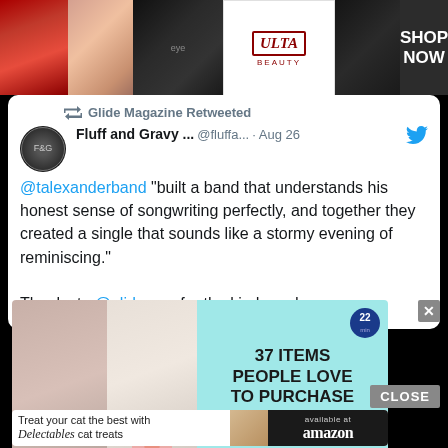[Figure (photo): Advertisement banner for ULTA Beauty showing makeup/cosmetics imagery with 'SHOP NOW' button]
Glide Magazine Retweeted
Fluff and Gravy ...  @fluffa...  · Aug 26
@talexanderband "built a band that understands his honest sense of songwriting perfectly, and together they created a single that sounds like a stormy evening of reminiscing."

Thanks to @glidemag  for the kind words
[Figure (photo): Advertisement: 37 Items People Love To Purchase On Amazon, showing woman with necklace and a pink device]
[Figure (photo): Advertisement: Treat your cat the best with Delectables cat treats, available at amazon]